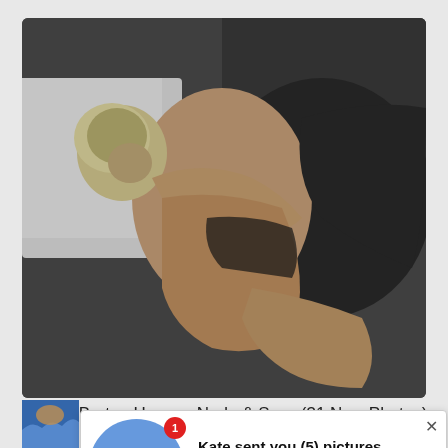[Figure (photo): A woman with short blonde hair lying on a dark fur/satin surface, photographed from above, black and white toned artistic photo]
Megan Barton Hanson Nude & Sexy (31 New Photos)
[Figure (screenshot): Pop-up advertisement notification overlay: blue circle with 'Ok' text and red badge '1', title 'Kate sent you (5) pictures', body text 'Click OK to display the photo', footer 'Ads By ClickAdilla cj4', with X close button]
[Figure (photo): Partial view of bottom thumbnails showing ocean waves and a woman]